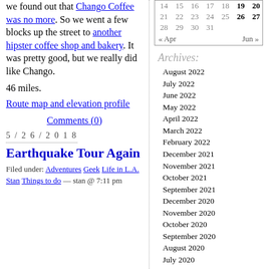we found out that Chango Coffee was no more. So we went a few blocks up the street to another hipster coffee shop and bakery. It was pretty good, but we really did like Chango.
46 miles.
Route map and elevation profile
Comments (0)
5/26/2018
Earthquake Tour Again
Filed under: Adventures Geek Life in L.A. Stan Things to do — stan @ 7:11 pm
|  | S | M | T | W | T | F | S |
| --- | --- | --- | --- | --- | --- | --- | --- |
|  |  |  |  |  |  |  |  |
|  | 14 | 15 | 16 | 17 | 18 | 19 | 20 |
|  | 21 | 22 | 23 | 24 | 25 | 26 | 27 |
|  | 28 | 29 | 30 | 31 |  |  |  |
| « Apr |  |  |  |  |  |  | Jun » |
Archives:
August 2022
July 2022
June 2022
May 2022
April 2022
March 2022
February 2022
December 2021
November 2021
October 2021
September 2021
December 2020
November 2020
October 2020
September 2020
August 2020
July 2020
June 2020
May 2020
April 2020
March 2020
February 2020
December 2019
November 2019